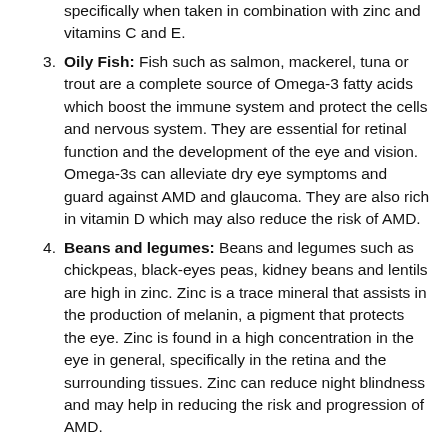specifically when taken in combination with zinc and vitamins C and E.
Oily Fish: Fish such as salmon, mackerel, tuna or trout are a complete source of Omega-3 fatty acids which boost the immune system and protect the cells and nervous system. They are essential for retinal function and the development of the eye and vision. Omega-3s can alleviate dry eye symptoms and guard against AMD and glaucoma. They are also rich in vitamin D which may also reduce the risk of AMD.
Beans and legumes: Beans and legumes such as chickpeas, black-eyes peas, kidney beans and lentils are high in zinc. Zinc is a trace mineral that assists in the production of melanin, a pigment that protects the eye. Zinc is found in a high concentration in the eye in general, specifically in the retina and the surrounding tissues. Zinc can reduce night blindness and may help in reducing the risk and progression of AMD.
Eggs: Eggs pack a big punch in terms of valuable vitamins and minerals. They are rich in zinc, lutein